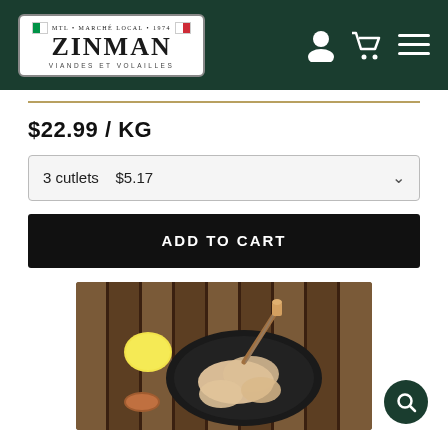[Figure (logo): Zinman Marché Local logo - white box with green border on dark green header, Italian flag colors, text: MTL MARCHÉ LOCAL 1974 ZINMAN VIANDES ET VOLAILLES]
$22.99 / KG
3 cutlets   $5.17
ADD TO CART
[Figure (photo): Raw chicken cutlets on a black round pan with a lemon, pastry brush, and spice dish on a wooden slat background - top down view]